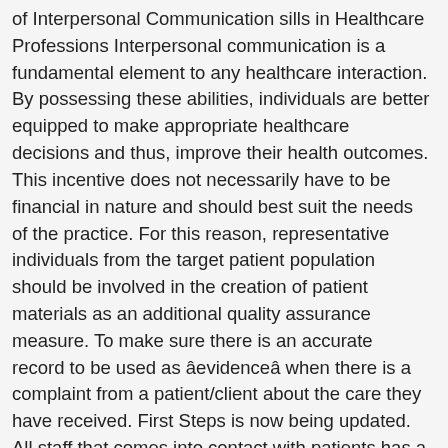of Interpersonal Communication sills in Healthcare Professions Interpersonal communication is a fundamental element to any healthcare interaction. By possessing these abilities, individuals are better equipped to make appropriate healthcare decisions and thus, improve their health outcomes. This incentive does not necessarily have to be financial in nature and should best suit the needs of the practice. For this reason, representative individuals from the target patient population should be involved in the creation of patient materials as an additional quality assurance measure. To make sure there is an accurate record to be used as âevidenceâ when there is a complaint from a patient/client about the care they have received. First Steps is now being updated. All staff that comes into contact with patients has a role to play in the delivery of their healthcare. Language barriers are not always immediately evident. We aimed at reviewing the literature on the quality of written communication, the impact of communication inefficiencies and recommendations to improve written communication in